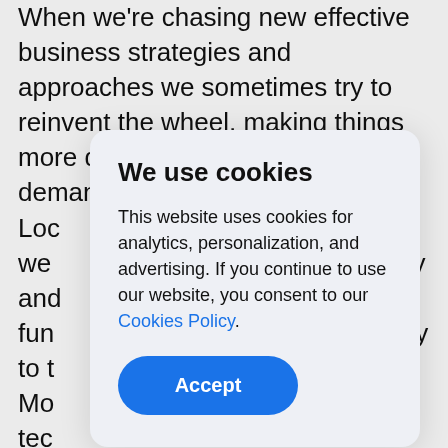When we're chasing new effective business strategies and approaches we sometimes try to reinvent the wheel, making things more difficult. While the situation demands the opposite. Loc we and fun to t Mo tec dev s to e businesses, what are the main principles of the gamification process and examine the best
[Figure (screenshot): Cookie consent modal overlay with title 'We use cookies', body text about analytics/personalization/advertising cookies, a Cookies Policy link, and a blue Accept button.]